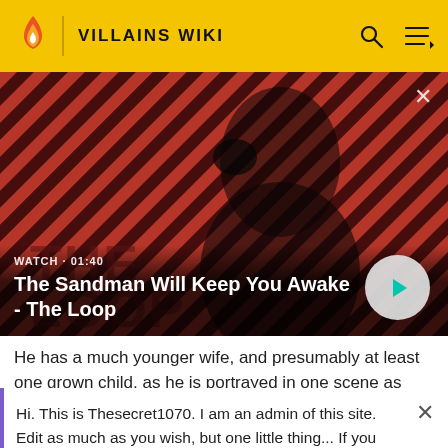VILLAINS WIKI
[Figure (screenshot): Video thumbnail showing a dark figure with a raven on shoulder against a red and black striped background. Title: The Sandman Will Keep You Awake - The Loop. Watch · 01:40]
WATCH · 01:40
The Sandman Will Keep You Awake - The Loop
He has a much younger wife, and presumably at least one grown child, as he is portrayed in one scene as spending
Hi. This is Thesecret1070. I am an admin of this site. Edit as much as you wish, but one little thing... If you are going to edit a lot, then make yourself a user and login. Other than that, enjoy Villains Wiki!!!